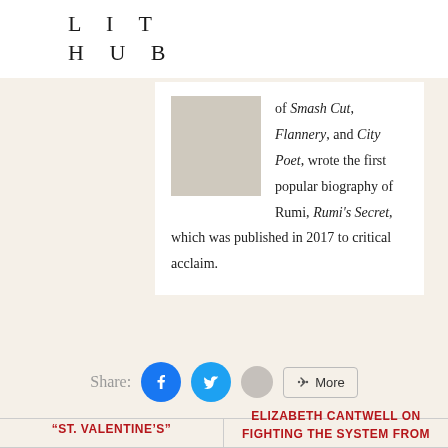LIT HUB
of Smash Cut, Flannery, and City Poet, wrote the first popular biography of Rumi, Rumi's Secret, which was published in 2017 to critical acclaim.
[Figure (other): Social share buttons: Facebook, Twitter, grey circle, and More button]
“ST. VALENTINE’S”
ELIZABETH CANTWELL ON FIGHTING THE SYSTEM FROM THE INSIDE